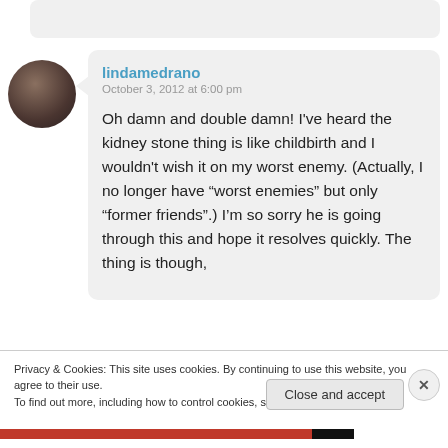[Figure (other): Partial previous comment box, gray rounded rectangle at top]
[Figure (photo): User avatar photo - dark circular profile image of a person]
lindamedrano
October 3, 2012 at 6:00 pm

Oh damn and double damn! I've heard the kidney stone thing is like childbirth and I wouldn't wish it on my worst enemy. (Actually, I no longer have “worst enemies” but only “former friends”.) I’m so sorry he is going through this and hope it resolves quickly. The thing is though,
Privacy & Cookies: This site uses cookies. By continuing to use this website, you agree to their use.
To find out more, including how to control cookies, see here: Cookie Policy
Close and accept